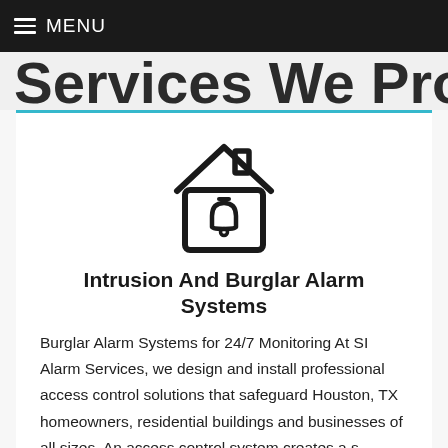MENU
Services We Provide
[Figure (illustration): House icon with a bell inside, outline style]
Intrusion And Burglar Alarm Systems
Burglar Alarm Systems for 24/7 Monitoring At SI Alarm Services, we design and install professional access control solutions that safeguard Houston, TX homeowners, residential buildings and businesses of all sizes. An access control system creates a s...
Read More